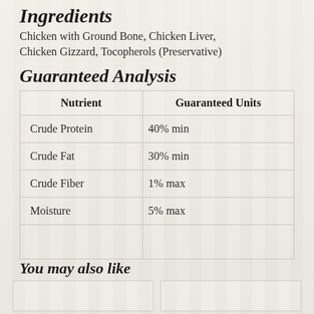Ingredients
Chicken with Ground Bone, Chicken Liver, Chicken Gizzard, Tocopherols (Preservative)
Guaranteed Analysis
| Nutrient | Guaranteed Units |
| --- | --- |
| Crude Protein | 40% min |
| Crude Fat | 30% min |
| Crude Fiber | 1% max |
| Moisture | 5% max |
You may also like